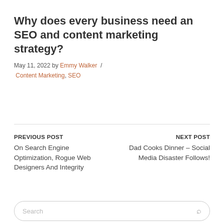Why does every business need an SEO and content marketing strategy?
May 11, 2022 by Emmy Walker / Content Marketing, SEO
PREVIOUS POST
On Search Engine Optimization, Rogue Web Designers And Integrity
NEXT POST
Dad Cooks Dinner – Social Media Disaster Follows!